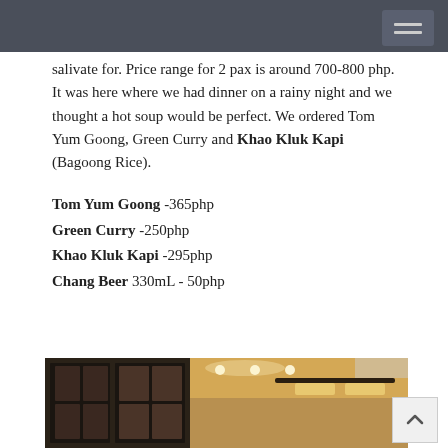salivate for. Price range for 2 pax is around 700-800 php. It was here where we had dinner on a rainy night and we thought a hot soup would be perfect. We ordered Tom Yum Goong, Green Curry and Khao Kluk Kapi (Bagoong Rice).
Tom Yum Goong -365php
Green Curry -250php
Khao Kluk Kapi -295php
Chang Beer 330mL - 50php
[Figure (photo): Interior of a restaurant showing dark-framed windows, ceiling lights and pendant lamps with warm lighting]